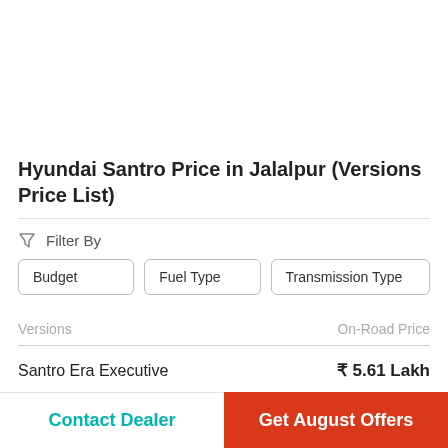Hyundai Santro Price in Jalalpur (Versions Price List)
Filter By
Budget
Fuel Type
Transmission Type
| Versions | On-Road Price |
| --- | --- |
| Santro Era Executive | ₹ 5.61 Lakh |
Contact Dealer
Get August Offers